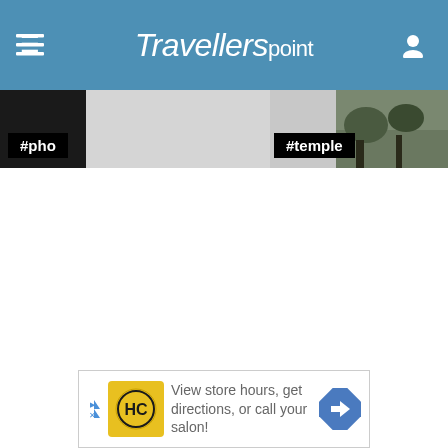Travellerspoint
[Figure (screenshot): Two hashtag-labeled thumbnail images: #pho on the left and #temple on the right with a rocky/nature photo]
[Figure (infographic): Advertisement banner: HC logo on yellow background, text 'View store hours, get directions, or call your salon!' with navigation arrow icon]